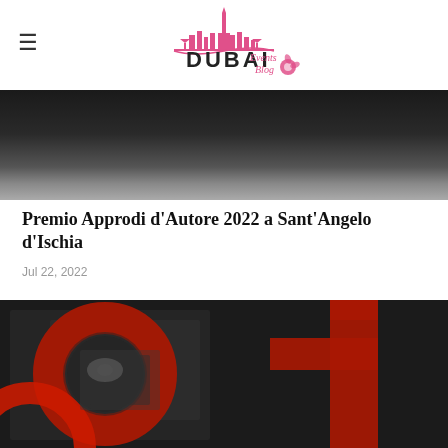Dubai Events Blog
[Figure (photo): Top dark photo strip — darkened architectural scene]
Premio Approdi d’Autore 2022 a Sant’Angelo d’Ischia
Jul 22, 2022
[Figure (photo): Large photo with bold red typographic letters on a distressed textured surface, showing parts of 'o' and 'f' letters in red on a dark grey/black background]